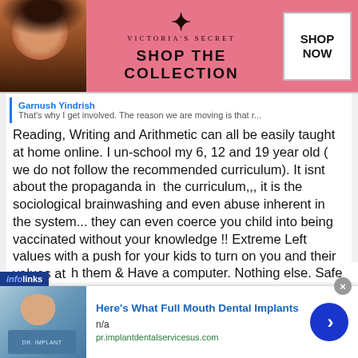[Figure (photo): Victoria's Secret advertisement banner with model, logo, 'SHOP THE COLLECTION' text and 'SHOP NOW' button on pink background]
Garnush Yindrish
That's why I get involved. The reason we are moving is that r...
Reading, Writing and Arithmetic can all be easily taught at home online. I un-school my 6, 12 and 19 year old ( we do not follow the recommended curriculum). It isnt about the propaganda in the curriculum,,, it is the sociological brainwashing and even abuse inherent in the system... they can even coerce you child into being vaccinated without your knowledge !! Extreme Left values with a push for your kids to turn on you and their values at home . No thanks for me. All you need to homeschool is to love your kids and stay home with them & Have a computer. Nothing else. Safe
[Figure (advertisement): Infolinks ad for dental implants: 'Here's What Full Mouth Dental Implants' with dental image, n/a, pr.implantdentalservicesus.com URL, and blue arrow button]